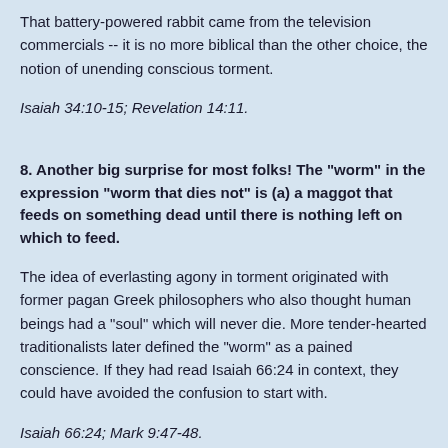That battery-powered rabbit came from the television commercials -- it is no more biblical than the other choice, the notion of unending conscious torment.
Isaiah 34:10-15; Revelation 14:11.
8. Another big surprise for most folks! The "worm" in the expression "worm that dies not" is (a) a maggot that feeds on something dead until there is nothing left on which to feed.
The idea of everlasting agony in torment originated with former pagan Greek philosophers who also thought human beings had a "soul" which will never die. More tender-hearted traditionalists later defined the "worm" as a pained conscience. If they had read Isaiah 66:24 in context, they could have avoided the confusion to start with.
Isaiah 66:24; Mark 9:47-48.